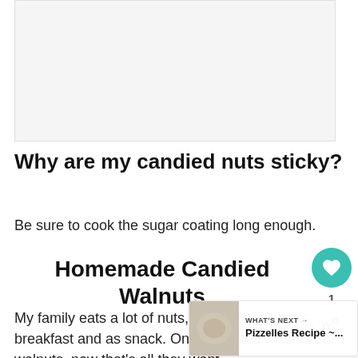[Figure (photo): Placeholder image area for a food/recipe photo]
Why are my candied nuts sticky?
Be sure to cook the sugar coating long enough.
Homemade Candied Walnuts
My family eats a lot of nuts, especially walnuts, ... breakfast and as snack. Once I started ... candied walnuts, now that's all they want.